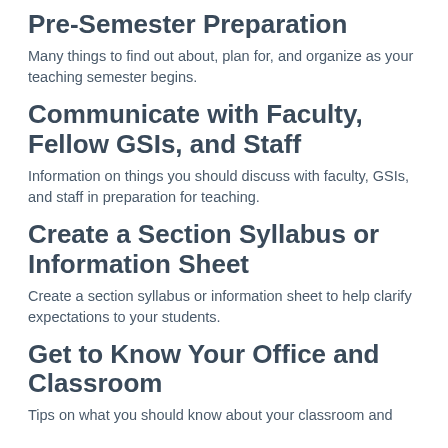Pre-Semester Preparation
Many things to find out about, plan for, and organize as your teaching semester begins.
Communicate with Faculty, Fellow GSIs, and Staff
Information on things you should discuss with faculty, GSIs, and staff in preparation for teaching.
Create a Section Syllabus or Information Sheet
Create a section syllabus or information sheet to help clarify expectations to your students.
Get to Know Your Office and Classroom
Tips on what you should know about your classroom and